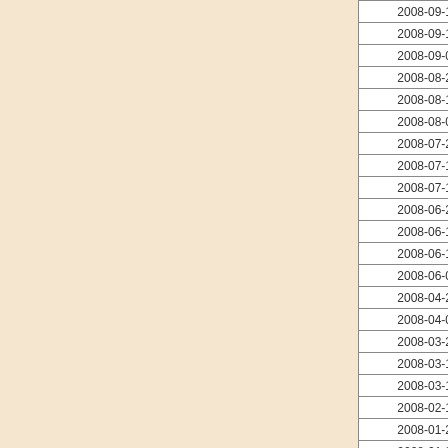| Date | Side | Result | Opponent |
| --- | --- | --- | --- |
| 2008-09-17 | Gote | ● | Inaba, Aki... |
| 2008-09-12 | Gote | ● | Awaji, Hitosh... |
| 2008-09-02 | Sente | ● | Kubota, Yosh... |
| 2008-08-27 | Sente | ● | Akutsu, Chik... |
| 2008-08-11 | Sente | ○ | Itodani, Tets... |
| 2008-08-05 | Gote | ● | Miyata, Atsu... |
| 2008-07-29 | Sente | ● | Arimori, Kou... |
| 2008-07-15 | Gote | ● | Hiura, Ichi... |
| 2008-07-11 | Gote | ○ | Tanigawa, K... |
| 2008-06-24 | Gote | ● | Murata, Tomo... |
| 2008-06-18 | Sente | ○ | Toyoshima, Ma... |
| 2008-06-10 | Sente | ● | Ogura, Hisa... |
| 2008-06-05 | Gote | ○ | Kiriyama, Kiyo... |
| 2008-04-24 | Gote | ○ | Kobayashi, Hiros... |
| 2008-04-08 | Sente | ● | Fukuzaki, Bu... |
| 2008-03-26 | Sente | ○ | Minami, Yosh... |
| 2008-03-18 | Sente | ● | Kiriyama, Kiyo... |
| 2008-03-11 | Gote | ● | Nakata, Isa... |
| 2008-02-12 | Sente | ● | Tanaka, Kai... |
| 2008-01-29 | Gote | ○ | Mori, Nobu... |
| 2008-01-22 | Sente | ○ | Okazaki, Hir... |
| 2008-01-17 | Gote | ● | Hashimoto, Ta... |
| 2008-01-11 | Gote | ○ | Ariyoshi, Mic... |